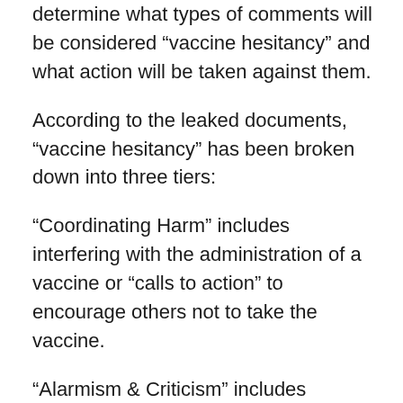determine what types of comments will be considered “vaccine hesitancy” and what action will be taken against them.
According to the leaked documents, “vaccine hesitancy” has been broken down into three tiers:
“Coordinating Harm” includes interfering with the administration of a vaccine or “calls to action” to encourage others not to take the vaccine.
“Alarmism & Criticism” includes disparaging others for having received the vaccine or engaging in alarmism suggesting a hidden